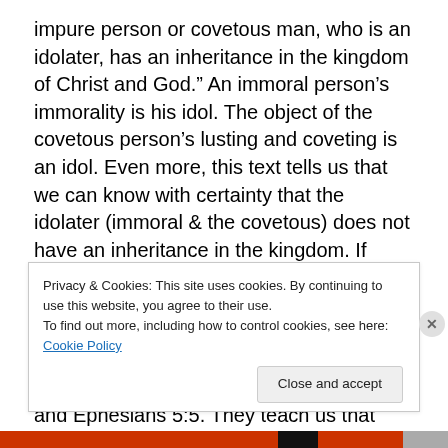impure person or covetous man, who is an idolater, has an inheritance in the kingdom of Christ and God.” An immoral person’s immorality is his idol. The object of the covetous person’s lusting and coveting is an idol. Even more, this text tells us that we can know with certainty that the idolater (immoral & the covetous) does not have an inheritance in the kingdom. If ministers are idolatrous, are they in the kingdom? Does God use non-spiritual people to build His spiritual kingdom? Each person must examine his heart to see if he is an idolater from Colossians 3:5 and Ephesians 5:5. They teach us that idolatry is really
Privacy & Cookies: This site uses cookies. By continuing to use this website, you agree to their use.
To find out more, including how to control cookies, see here: Cookie Policy